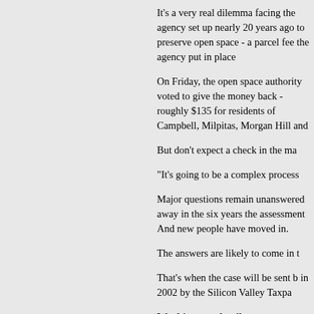It's a very real dilemma facing the agency set up nearly 20 years ago to preserve open space - a parcel fee the agency put in place
On Friday, the open space authority voted to give the money back - roughly $135 for residents of Campbell, Milpitas, Morgan Hill and
But don't expect a check in the ma
"It's going to be a complex process
Major questions remain unanswered away in the six years the assessment And new people have moved in.
The answers are likely to come in t
That's when the case will be sent b in 2002 by the Silicon Valley Taxpa
Working out details
The judge there is expected to dec property tax bill, or whether people judge will also decide what to do w who want to donate it to the open s also the $4 million earned in intere
"Our position is that we'd like to see McNea, president of the Silicon V so it's only logical."